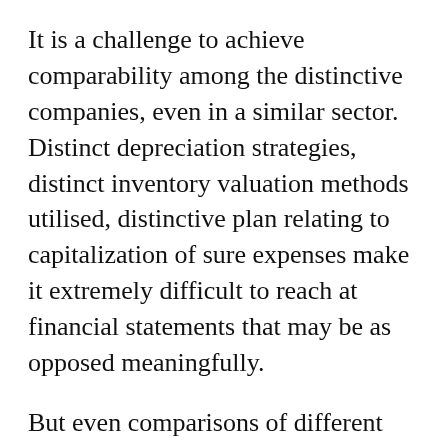It is a challenge to achieve comparability among the distinctive companies, even in a similar sector. Distinct depreciation strategies, distinct inventory valuation methods utilised, distinctive plan relating to capitalization of sure expenses make it extremely difficult to reach at financial statements that may be as opposed meaningfully.
But even comparisons of different durations inside the exact same corporation can get challenging. I've observed quite a few tiny enterprises having a superior turnover of